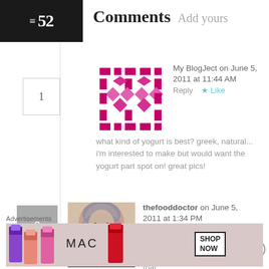52 Comments Add yours
1
[Figure (illustration): Magenta/pink pixel-art style decorative avatar icon with diamond/cross pattern]
My BlogJect on June 5, 2011 at 11:44 AM   Reply   ★ Like
what kind of yogurt is best? greek, natural... i'm interested to make but would want the yogurt part spot on! great pics!
2
[Figure (photo): Photo of a woman wearing a hijab, smiling]
thefooddoctor on June 5, 2011 at 1:34 PM   Reply   ★ Like
Greek would be that
Advertisements
[Figure (screenshot): MAC cosmetics advertisement showing lipsticks with SHOP NOW button]